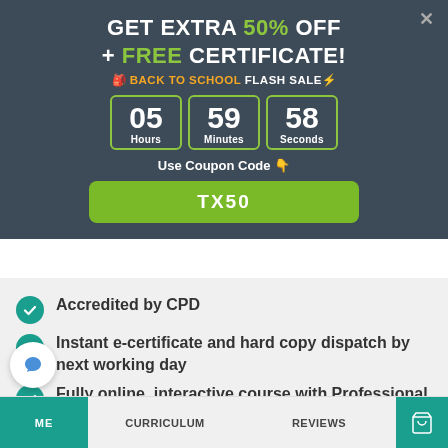GET EXTRA 50% OFF + FREE CERTIFICATE!
🎒 BACK TO SCHOOL FLASH SALE⚡
05 Hours  59 Minutes  58 Seconds
Use Coupon Code 👇
TX50
Accredited by CPD
Instant e-certificate and hard copy dispatch by next working day
Fully online, interactive course with Professional voice-over
HOME  CURRICULUM  REVIEWS